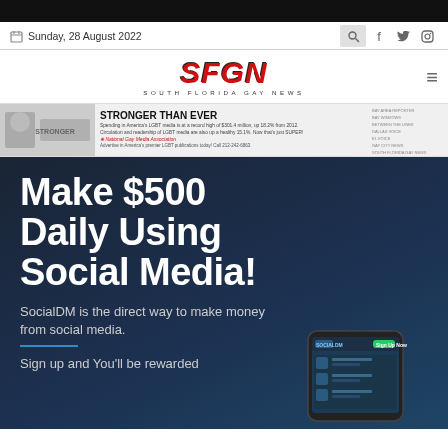Sunday, 28 August 2022
[Figure (logo): SFGN South Florida Gay News logo with red bold italic letters]
[Figure (infographic): National Gay Media Association advertisement banner: STRONGER THAN EVER - Spending in America's LGBT media is at a record high of $301.4 million, up 18.2% from 2012. Circulation and readership of LGBT media are also up a healthy 15.1%. Now that's just SUPER! Advertise in America's premier LGBT publications today! Call 212-242-6863]
Make $500 Daily Using Social Media!
SocialDM is the direct way to make money from social media.
Sign up and You'll be rewarded